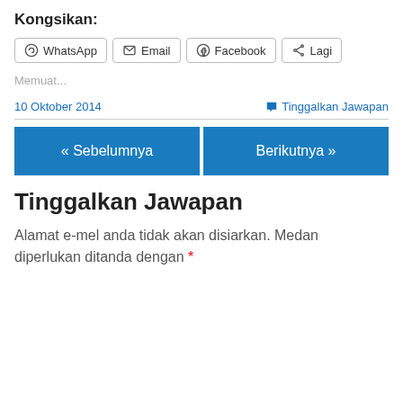Kongsikan:
[Figure (screenshot): Row of share buttons: WhatsApp, Email, Facebook, Lagi]
Memuat...
10 Oktober 2014
Tinggalkan Jawapan
[Figure (screenshot): Navigation buttons: « Sebelumnya and Berikutnya »]
Tinggalkan Jawapan
Alamat e-mel anda tidak akan disiarkan. Medan diperlukan ditanda dengan *